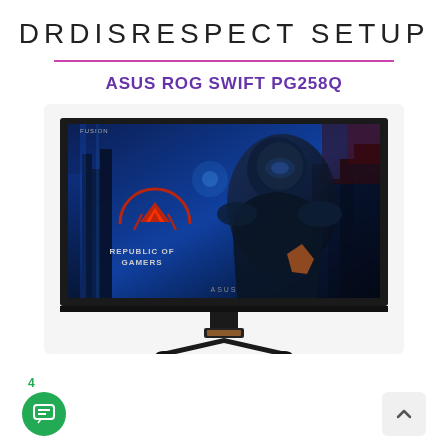DRDISRESPECT SETUP
ASUS ROG SWIFT PG258Q
[Figure (photo): Product photo of the ASUS ROG Swift PG258Q gaming monitor, showing the monitor displaying a Republic of Gamers wallpaper with a futuristic armored character on a blue city background, with the ROG logo visible. The monitor has a thin bezel, adjustable stand, and copper-colored accent on the base.]